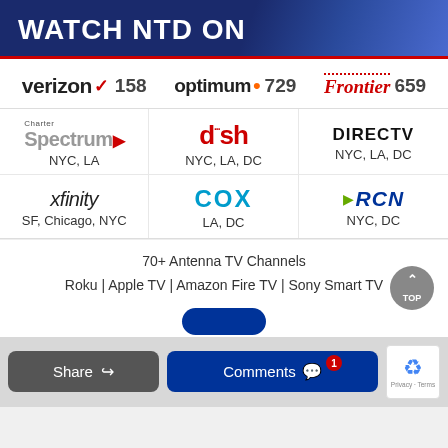WATCH NTD ON
verizon 158   optimum. 729   Frontier 659
Charter Spectrum NYC, LA
dish NYC, LA, DC
DIRECTV NYC, LA, DC
xfinity SF, Chicago, NYC
COX LA, DC
RCN NYC, DC
70+ Antenna TV Channels
Roku | Apple TV | Amazon Fire TV | Sony Smart TV
Share   Comments 1   Privacy · Terms